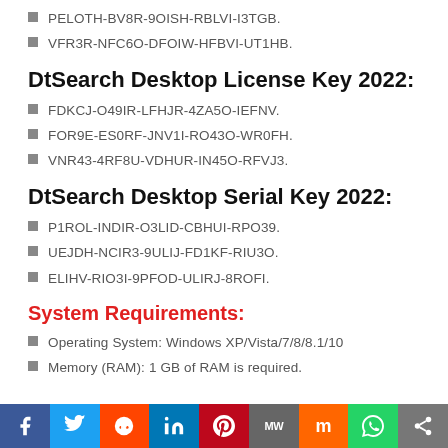PELOTH-BV8R-9OISH-RBLVI-I3TGB.
VFR3R-NFC6O-DFOIW-HFBVI-UT1HB.
DtSearch Desktop License Key 2022:
FDKCJ-O49IR-LFHJR-4ZA5O-IEFNV.
FOR9E-ES0RF-JNV1I-RO43O-WR0FH.
VNR43-4RF8U-VDHUR-IN45O-RFVJ3.
DtSearch Desktop Serial Key 2022:
P1ROL-INDIR-O3LID-CBHUI-RPO39.
UEJDH-NCIR3-9ULIJ-FD1KF-RIU3O.
ELIHV-RIO3I-9PFOD-ULIRJ-8ROFI.
System Requirements:
Operating System: Windows XP/Vista/7/8/8.1/10
Memory (RAM): 1 GB of RAM is required.